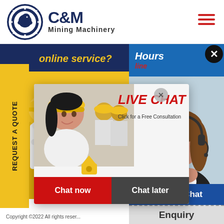[Figure (logo): C&M Mining Machinery logo with eagle in gear circle]
[Figure (screenshot): Website screenshot showing online service banner, yellow geometric background with workers, live chat popup overlay, and customer service agent photo on right]
online service?
REQUEST A QUOTE
LIVE CHAT
Click for a Free Consultation
Chat now
Chat later
Hours
line
Click to Chat
Enquiry
Copyright ©2022 All rights reser...